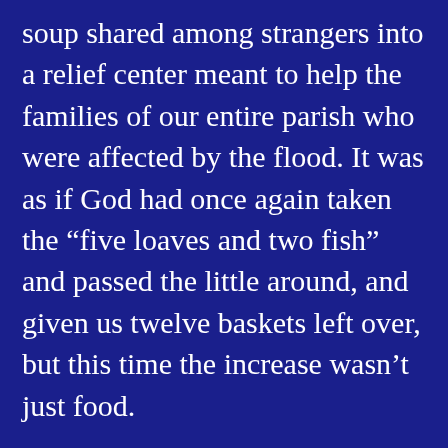soup shared among strangers into a relief center meant to help the families of our entire parish who were affected by the flood. It was as if God had once again taken the “five loaves and two fish” and passed the little around, and given us twelve baskets left over, but this time the increase wasn’t just food.
As we prayed for ways to continue to help our neighbors, the phone would ring and a stranger’s voice would say, “I heard about your situation. I’m on my way with a trailer full of supplies, clothes and all the fixens we need to make a pot of gumbo.”